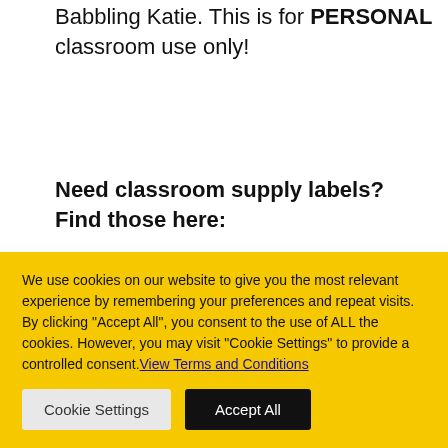Babbling Katie. This is for PERSONAL classroom use only!
Need classroom supply labels? Find those here:
Classroom Supply Labels!
We use cookies on our website to give you the most relevant experience by remembering your preferences and repeat visits. By clicking “Accept All”, you consent to the use of ALL the cookies. However, you may visit “Cookie Settings” to provide a controlled consent. View Terms and Conditions